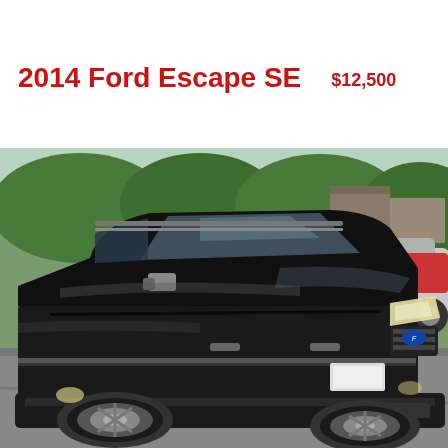2014 Ford Escape SE   $12,500
[Figure (photo): A black 2014 Ford Escape SE SUV parked in a dealership lot, photographed from a front three-quarter angle. Other vehicles visible in background including a silver car and a red car. Trees visible in background.]